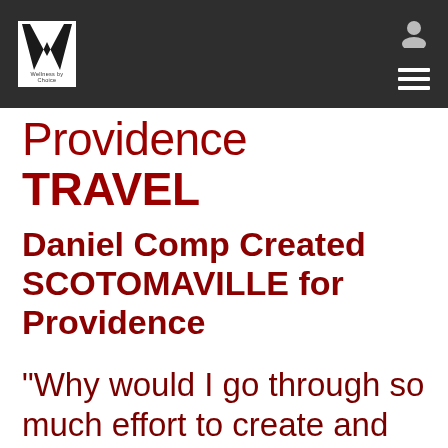[Figure (logo): Website header bar with W logo (Wellness by Choice) on left and user/menu icons on right, dark gray background]
Providence TRAVEL
Daniel Comp Created SCOTOMAVILLE for Providence
"Why would I go through so much effort to create and